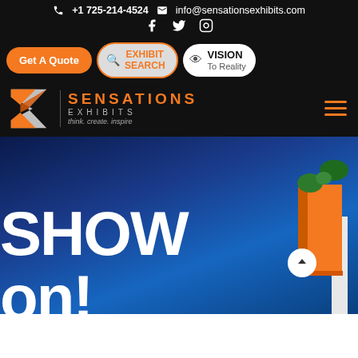+1 725-214-4524  info@sensationsexhibits.com
[Figure (logo): Sensations Exhibits logo with orange sigma symbol, company name in orange, and tagline 'think. create. inspire.' on black background]
[Figure (screenshot): Hero banner with deep blue gradient background showing partial large white text 'SHOW' and 'on!' with an orange exhibition stand structure on the right side and a scroll-up button]